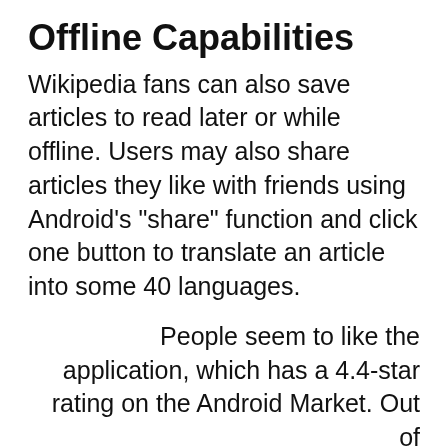Offline Capabilities
Wikipedia fans can also save articles to read later or while offline. Users may also share articles they like with friends using Android’s “share” function and click one button to translate an article into some 40 languages.
People seem to like the application, which has a 4.4-star rating on the Android Market. Out of some 805 users who have rated this application as of this writing, 533 of them awarded Wikipedia for Android five stars, compared with only 19 people who gave the